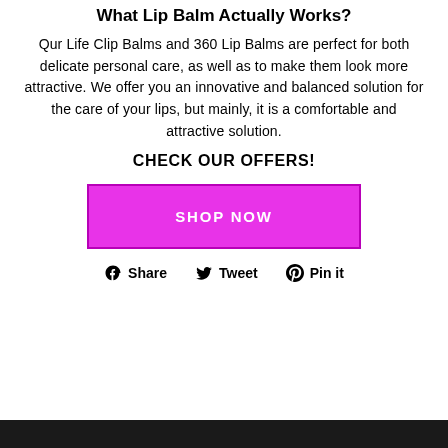What Lip Balm Actually Works?
Qur Life Clip Balms and 360 Lip Balms are perfect for both delicate personal care, as well as to make them look more attractive. We offer you an innovative and balanced solution for the care of your lips, but mainly, it is a comfortable and attractive solution.
CHECK OUR OFFERS!
[Figure (other): Magenta SHOP NOW button]
Share  Tweet  Pin it